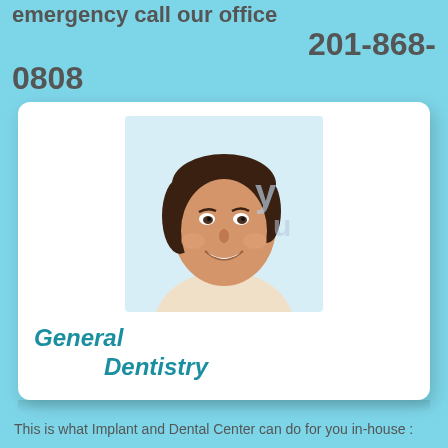emergency call our office 201-868-0808
[Figure (photo): Smiling young woman at a dental office, used as a promotional image for General Dentistry services]
General Dentistry
This is what Implant and Dental Center can do for you in-house :
Rootcanals
Extractions: simple and surgical
Fillings